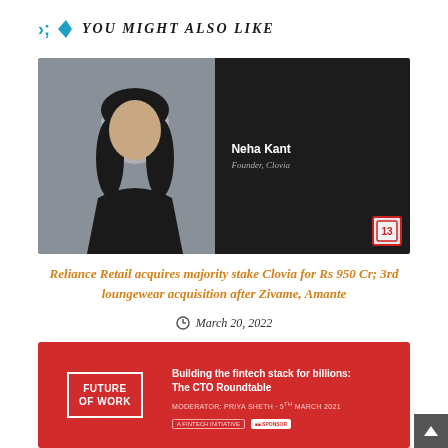YOU MIGHT ALSO LIKE
[Figure (photo): Photo of Neha Kant, Founder of Clovia, shown against a split background – grey on left with her photo and dark/black on right with her name and title in white text.]
Reliance Retail acquires majority stake Clovia for Rs 950 Cr; 3rd loungewear acquisition after Zivame, Amante
March 20, 2022
[Figure (photo): Red banner image for 'Future of Work' event – a fintech initiative. Text reads: Building the fintech stack for billions: The CTO Roundtable. Moderator: Priya Sheth · 5th March 2021]